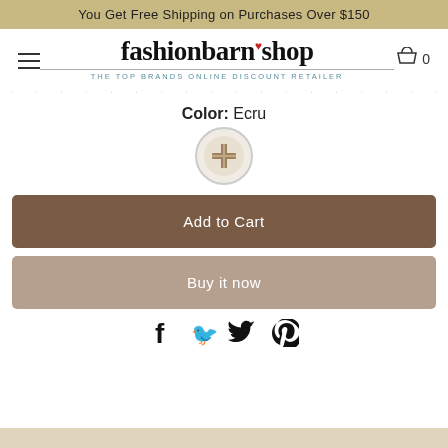You Get Free Shipping on Purchases Over $150
[Figure (logo): fashionbarn shop logo with heart and tagline 'the top brands online discount retailer']
Color: Ecru
[Figure (illustration): Ecru color swatch circle showing a fabric/material sample in ecru/beige tone]
Add to Cart
Buy it now
[Figure (infographic): Social sharing icons: Facebook, Twitter, Pinterest]